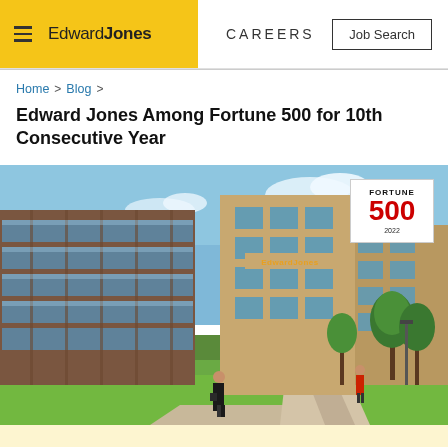Edward Jones | CAREERS | Job Search
Home > Blog >
Edward Jones Among Fortune 500 for 10th Consecutive Year
[Figure (photo): Edward Jones corporate campus building exterior with modern glass and brick architecture, green lawn, walkway, trees, blue sky, and a Fortune 500 2022 badge overlay in the top right corner. Two people walking on the path.]